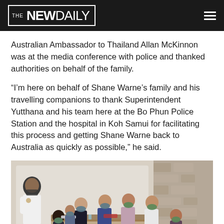THE NEW DAILY
Australian Ambassador to Thailand Allan McKinnon was at the media conference with police and thanked authorities on behalf of the family.
“I’m here on behalf of Shane Warne’s family and his travelling companions to thank Superintendent Yutthana and his team here at the Bo Phun Police Station and the hospital in Koh Samui for facilitating this process and getting Shane Warne back to Australia as quickly as possible,” he said.
[Figure (photo): Group of people seated around a table indoors, all wearing face masks, with one person standing and speaking. Stone wall visible in background.]